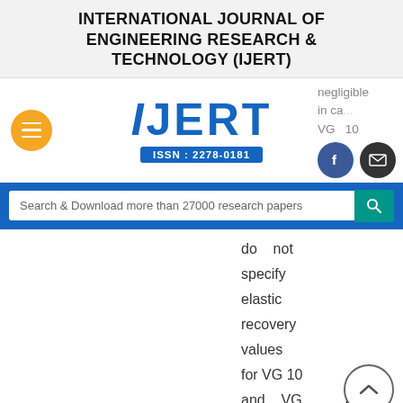INTERNATIONAL JOURNAL OF ENGINEERING RESEARCH & TECHNOLOGY (IJERT)
[Figure (logo): IJERT logo with ISSN: 2278-0181, hamburger menu button, Facebook and email icons, and partial text 'negligible in ca... VG 10']
Search & Download more than 27000 research papers
do not specify elastic recovery values for VG 10 and VG 30 binders